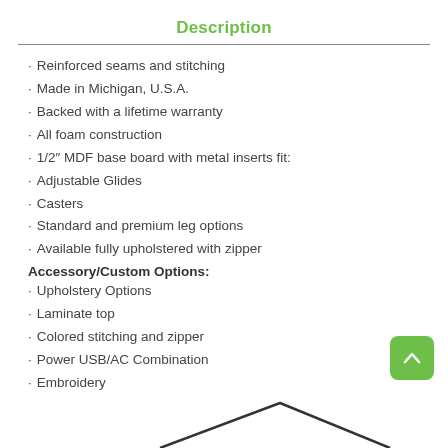Description
Reinforced seams and stitching
Made in Michigan, U.S.A.
Backed with a lifetime warranty
All foam construction
1/2" MDF base board with metal inserts fit:
Adjustable Glides
Casters
Standard and premium leg options
Available fully upholstered with zipper
Accessory/Custom Options:
Upholstery Options
Laminate top
Colored stitching and zipper
Power USB/AC Combination
Embroidery
[Figure (illustration): Bottom portion of a product illustration showing an angled roofline or furniture edge]